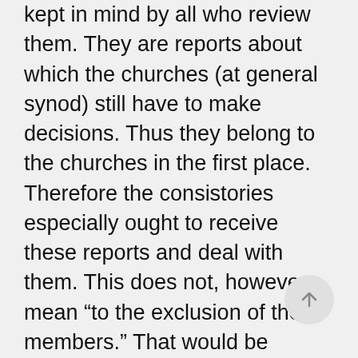kept in mind by all who review them. They are reports about which the churches (at general synod) still have to make decisions. Thus they belong to the churches in the first place. Therefore the consistories especially ought to receive these reports and deal with them. This does not, however, mean “to the exclusion of the members.” That would be contrary to the office of all believers and thus also with the considerations of Synod Chatham as listed in Observation 2.4.4 above. The members of the churches should therefore have these reports available to them and review them keeping in mind the above mentioned